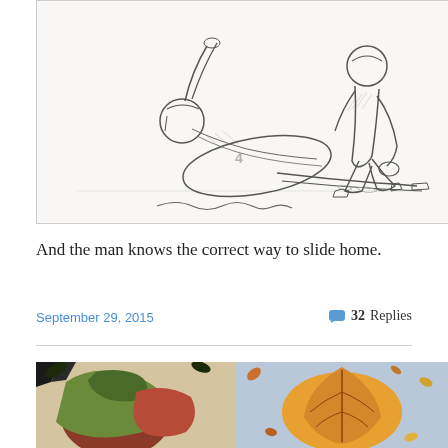[Figure (illustration): Pencil sketch drawing of two baseball players — one sliding into home base, the other (catcher) reaching down to tag.]
And the man knows the correct way to slide home.
September 29, 2015
32 Replies
[Figure (illustration): Two colorful artworks side by side: left shows abstract shapes in red, green, and earth tones; right shows a stylized leaf or flower in orange and yellow tones against a light blue background.]